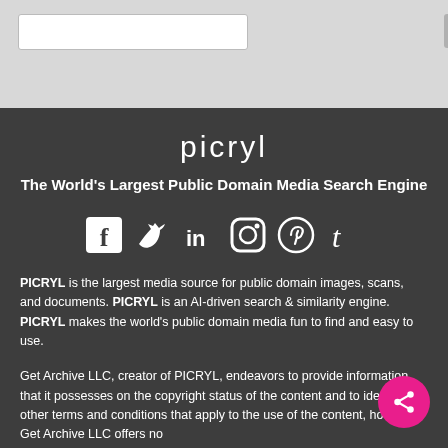[Figure (screenshot): Top navigation bar with search box and button on light grey background]
picryl
The World's Largest Public Domain Media Search Engine
[Figure (infographic): Social media icons row: Facebook, Twitter, LinkedIn, Instagram, Pinterest, Tumblr]
PICRYL is the largest media source for public domain images, scans, and documents. PICRYL is an AI-driven search & similarity engine. PICRYL makes the world's public domain media fun to find and easy to use.
Get Archive LLC, creator of PICRYL, endeavors to provide information that it possesses on the copyright status of the content and to identify any other terms and conditions that apply to the use of the content, however, Get Archive LLC offers no